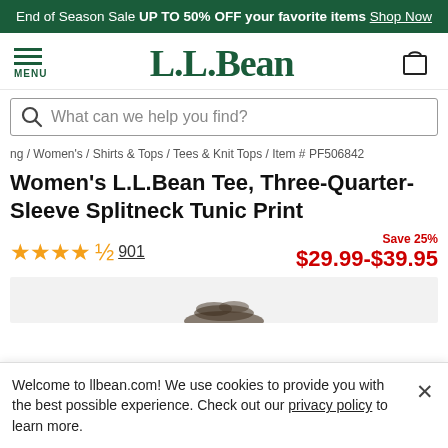End of Season Sale UP TO 50% OFF your favorite items Shop Now
[Figure (logo): L.L.Bean logo with hamburger menu and bag icon]
What can we help you find?
ng / Women's / Shirts & Tops / Tees & Knit Tops / Item # PF506842
Women's L.L.Bean Tee, Three-Quarter-Sleeve Splitneck Tunic Print
Save 25%
★★★★½ 901   $29.99-$39.95
[Figure (photo): Partial product photo of tunic print tee]
Welcome to llbean.com! We use cookies to provide you with the best possible experience. Check out our privacy policy to learn more.